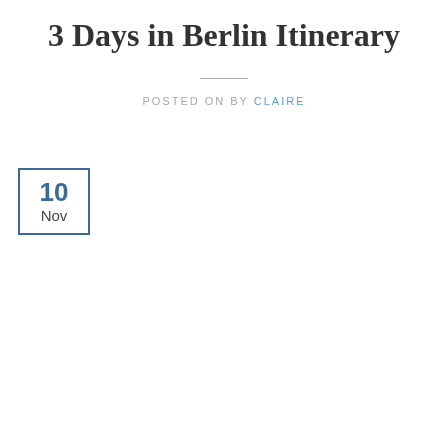3 Days in Berlin Itinerary
POSTED ON BY CLAIRE